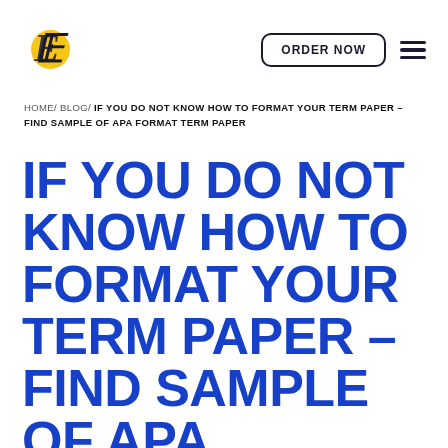E logo | ORDER NOW | hamburger menu
HOME/ BLOG/ IF YOU DO NOT KNOW HOW TO FORMAT YOUR TERM PAPER – FIND SAMPLE OF APA FORMAT TERM PAPER
IF YOU DO NOT KNOW HOW TO FORMAT YOUR TERM PAPER – FIND SAMPLE OF APA FORMAT TERM PAPER